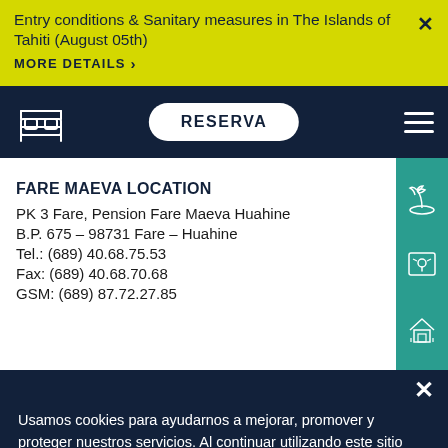Entry conditions & Sanitary measures in The Islands of Tahiti (August 05th)
MORE DETAILS >
RESERVA
FARE MAEVA LOCATION
PK 3 Fare, Pension Fare Maeva Huahine
B.P. 675 – 98731 Fare – Huahine
Tel.: (689) 40.68.75.53
Fax: (689) 40.68.70.68
GSM: (689) 87.72.27.85
Usamos cookies para ayudarnos a mejorar, promover y proteger nuestros servicios. Al continuar utilizando este sitio web, acepta nuestra política de cookies.